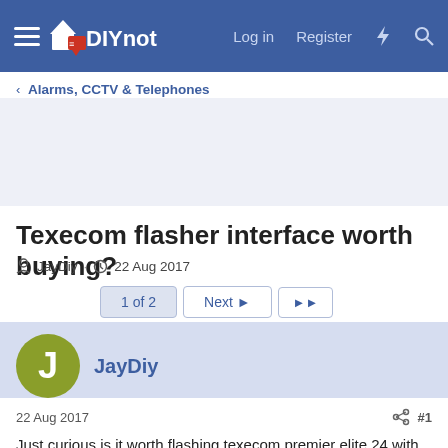DIYnot — Log in  Register
< Alarms, CCTV & Telephones
Texecom flasher interface worth buying?
JayDiy · 22 Aug 2017
1 of 2  Next ▶  ▶▶
JayDiy
22 Aug 2017  #1
Just curious is it worth flashing texecom premier elite 24 with latest version, what's the advantages? It's about 8 years old pa...